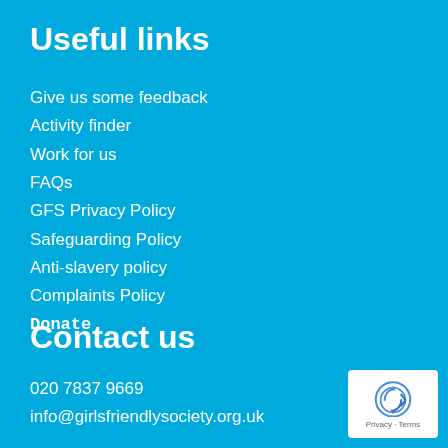Useful links
Give us some feedback
Activity finder
Work for us
FAQs
GFS Privacy Policy
Safeguarding Policy
Anti-slavery policy
Complaints Policy
Donate
Contact us
020 7837 9669
info@girlsfriendlysociety.org.uk
[Figure (logo): reCAPTCHA logo badge with Privacy - Terms text]